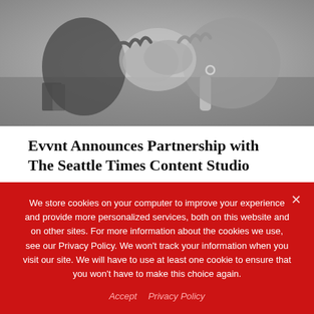[Figure (photo): Black and white photograph of two people shaking hands across a table with books and other objects in the background]
Evvnt Announces Partnership with The Seattle Times Content Studio
Business Wire • Aug 30, 2022
The Ticket' Launch Includes Evvnt's Ticketing, Marketing and
We store cookies on your computer to improve your experience and provide more personalized services, both on this website and on other sites. For more information about the cookies we use, see our Privacy Policy. We won't track your information when you visit our site. We will have to use at least one cookie to ensure that you won't have to make this choice again.
Accept   Privacy Policy